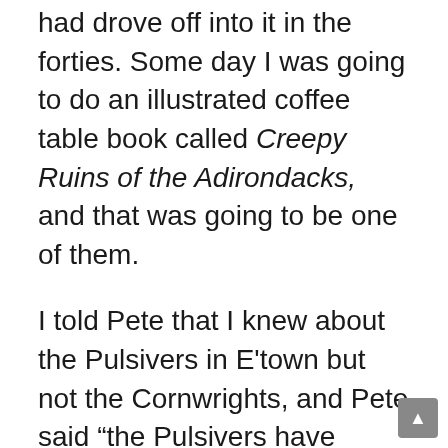had drove off into it in the forties. Some day I was going to do an illustrated coffee table book called Creepy Ruins of the Adirondacks, and that was going to be one of them.
I told Pete that I knew about the Pulsivers in E'town but not the Cornwrights, and Pete said "the Pulsivers have spread their genes around. Some of them are lawyers and judges, and others are still living in the woods." The other old clan in E'town are the Mitchell. Most of em live on Mitchell Road, up on what used to be called Nigger Hill.
During the ice storm in January, 1998, the only natural disaster I have ever experienced, most